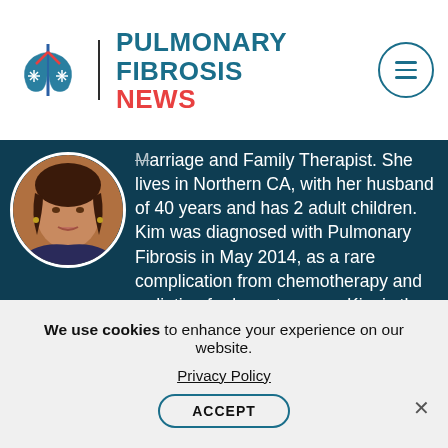PULMONARY FIBROSIS NEWS
[Figure (photo): Circular portrait photo of author (Kim), a woman with dark hair, on a dark teal background]
Marriage and Family Therapist. She lives in Northern CA, with her husband of 40 years and has 2 adult children. Kim was diagnosed with Pulmonary Fibrosis in May 2014, as a rare complication from chemotherapy and radiation for breast cancer. Kim is the author of Pulmonary Fibrosis Journey: A Counselor and Fellow Patient Walks with You, The Power of
We use cookies to enhance your experience on our website.
Privacy Policy
ACCEPT